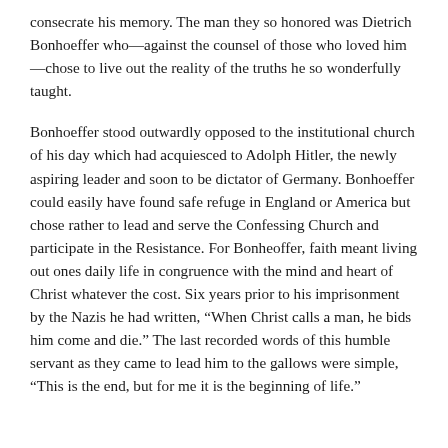consecrate his memory. The man they so honored was Dietrich Bonhoeffer who—against the counsel of those who loved him—chose to live out the reality of the truths he so wonderfully taught.
Bonhoeffer stood outwardly opposed to the institutional church of his day which had acquiesced to Adolph Hitler, the newly aspiring leader and soon to be dictator of Germany. Bonhoeffer could easily have found safe refuge in England or America but chose rather to lead and serve the Confessing Church and participate in the Resistance. For Bonheoffer, faith meant living out ones daily life in congruence with the mind and heart of Christ whatever the cost. Six years prior to his imprisonment by the Nazis he had written, “When Christ calls a man, he bids him come and die.” The last recorded words of this humble servant as they came to lead him to the gallows were simple, “This is the end, but for me it is the beginning of life.”